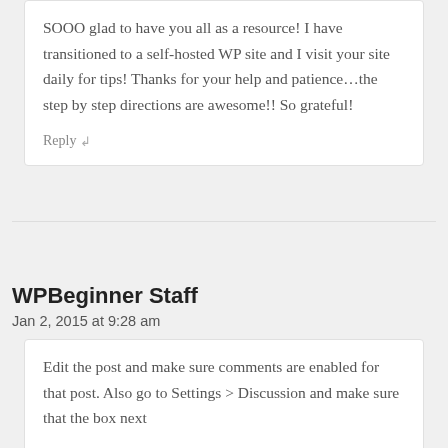SOOO glad to have you all as a resource! I have transitioned to a self-hosted WP site and I visit your site daily for tips! Thanks for your help and patience…the step by step directions are awesome!! So grateful!
Reply ↵
WPBeginner Staff
Jan 2, 2015 at 9:28 am
Edit the post and make sure comments are enabled for that post. Also go to Settings > Discussion and make sure that the box next to Automatically close comments on articles